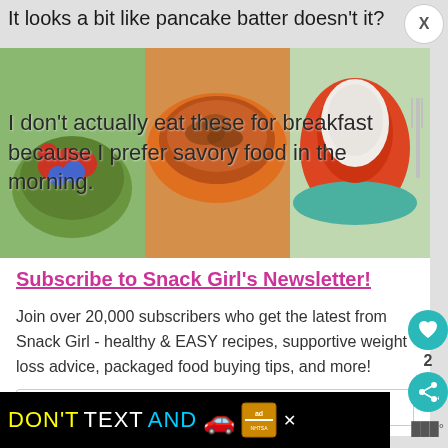It looks a bit like pancake batter doesn’t it?
[Figure (photo): A collage/strip of food photos including berries, bowls of food, and stuffed peppers]
I don’t actually eat these for breakfast because I prefer savory food in the morning.
Subscribe to Snack Girl’s Newsletter!
Join over 20,000 subscribers who get the latest from Snack Girl - healthy & EASY recipes, supportive weight loss advice, packaged food buying tips, and more!
enter your email address
[Figure (infographic): Advertisement banner: DON'T TEXT AND [car emoji] with NHTSA logo]